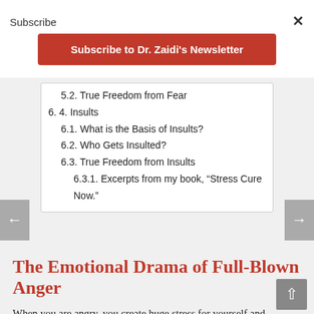Subscribe
× (close button)
Subscribe to Dr. Zaidi's Newsletter
5.2. True Freedom from Fear
6. 4. Insults
6.1. What is the Basis of Insults?
6.2. Who Gets Insulted?
6.3. True Freedom from Insults
6.3.1. Excerpts from my book, “Stress Cure Now.”
The Emotional Drama of Full-Blown Anger
When you are angry, you create huge stress for yourself and everyone else around you. In the grip of anger, your actions are completely